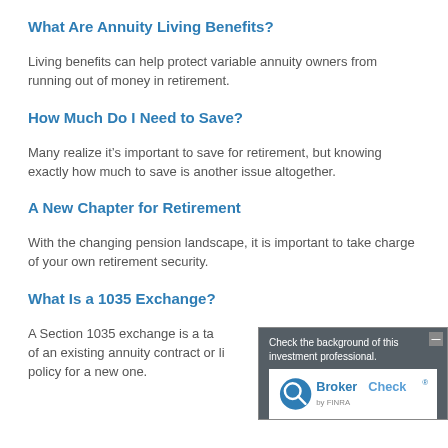What Are Annuity Living Benefits?
Living benefits can help protect variable annuity owners from running out of money in retirement.
How Much Do I Need to Save?
Many realize it’s important to save for retirement, but knowing exactly how much to save is another issue altogether.
A New Chapter for Retirement
With the changing pension landscape, it is important to take charge of your own retirement security.
What Is a 1035 Exchange?
A Section 1035 exchange is a tax-free exchange of an existing annuity contract or life insurance policy for a new one.
[Figure (logo): BrokerCheck by FINRA overlay with text 'Check the background of this investment professional.']